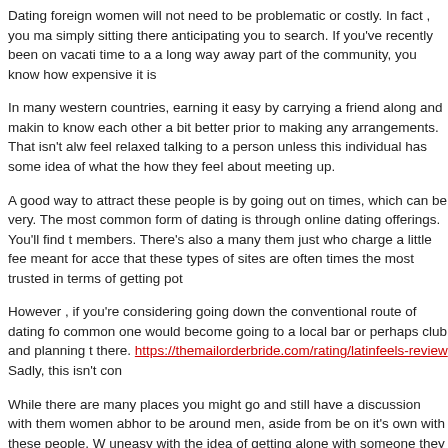Dating foreign women will not need to be problematic or costly. In fact , you ma simply sitting there anticipating you to search. If you've recently been on vacati time to a a long way away part of the community, you know how expensive it is
In many western countries, earning it easy by carrying a friend along and makin to know each other a bit better prior to making any arrangements. That isn't alw feel relaxed talking to a person unless this individual has some idea of what the how they feel about meeting up.
A good way to attract these people is by going out on times, which can be very. The most common form of dating is through online dating offerings. You'll find t members. There's also a many them just who charge a little fee meant for acce that these types of sites are often times the most trusted in terms of getting pot
However , if you're considering going down the conventional route of dating fo common one would become going to a local bar or perhaps club and planning t there. https://themailorderbride.com/rating/latinfeels-review Sadly, this isn't con
While there are many places you might go and still have a discussion with them women abhor to be around men, aside from be on it's own with these people. W uneasy with the idea of getting alone with someone they may have never satisf should try to make sure you are with a girl you really like and trust.